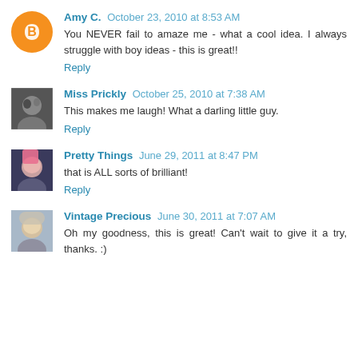Amy C. October 23, 2010 at 8:53 AM
You NEVER fail to amaze me - what a cool idea. I always struggle with boy ideas - this is great!!
Reply
Miss Prickly October 25, 2010 at 7:38 AM
This makes me laugh! What a darling little guy.
Reply
Pretty Things June 29, 2011 at 8:47 PM
that is ALL sorts of brilliant!
Reply
Vintage Precious June 30, 2011 at 7:07 AM
Oh my goodness, this is great! Can't wait to give it a try, thanks. :)